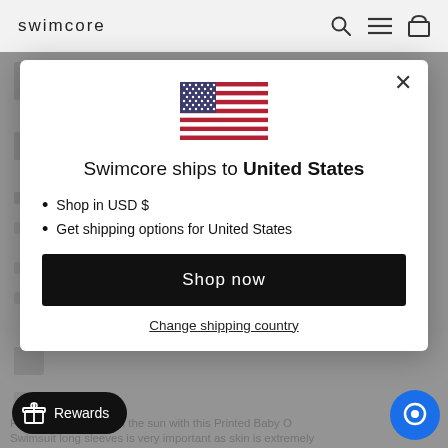swimcore
[Figure (screenshot): Modal dialog on swimcore e-commerce website showing US flag, shipping information for United States, Shop now button, and Change shipping country link]
Swimcore ships to United States
Shop in USD $
Get shipping options for United States
Shop now
Change shipping country
Rewards
Protect your child from the sun with this Printed Baby One-piece Swimsuit long sleeves is very important as skin is extremely